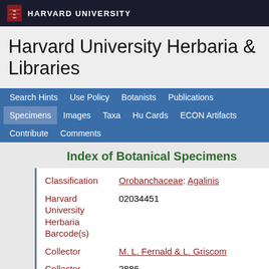HARVARD UNIVERSITY
Harvard University Herbaria & Libraries
Search Hints
Use Policy
Botanists
Publications
Specimens
Images
Taxa
Hu Cards
ECON Artifacts
Contribute
Comments
Index of Botanical Specimens
| Field | Value |
| --- | --- |
| Classification | Orobanchaceae: Agalinis |
| Harvard University Herbaria Barcode(s) | 02034451 |
| Collector | M. L. Fernald & L. Griscom |
| Collector number | 2886 |
| Country | United States of America |
| State | Virginia |